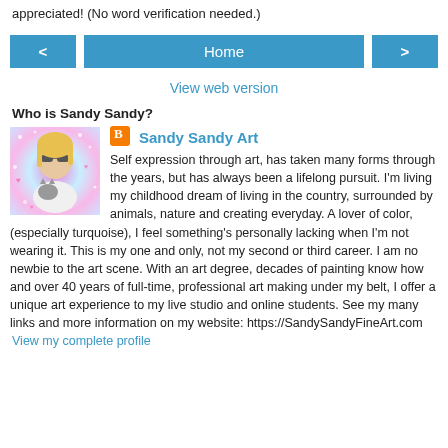appreciated! (No word verification needed.)
< Home >
View web version
Who is Sandy Sandy?
[Figure (photo): Profile photo of Sandy Sandy, a woman with blonde hair and sunglasses holding a cat, on a colorful sparkly background]
Sandy Sandy Art

Self expression through art, has taken many forms through the years, but has always been a lifelong pursuit. I'm living my childhood dream of living in the country, surrounded by animals, nature and creating everyday. A lover of color, (especially turquoise), I feel something's personally lacking when I'm not wearing it. This is my one and only, not my second or third career. I am no newbie to the art scene. With an art degree, decades of painting know how and over 40 years of full-time, professional art making under my belt, I offer a unique art experience to my live studio and online students. See my many links and more information on my website: https://SandySandyFineArt.com
View my complete profile